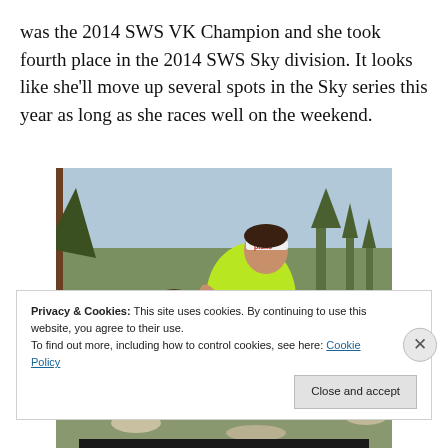was the 2014 SWS VK Champion and she took fourth place in the 2014 SWS Sky division. It looks like she'll move up several spots in the Sky series this year as long as she races well on the weekend.
[Figure (photo): Trail runners ascending a rocky mountain path. The lead runner wears a neon green sleeveless top and a white headband with 'pisko' branding. Behind her are two other runners, one in pink, on a steep rocky trail with trees and mountain scenery in the background.]
Privacy & Cookies: This site uses cookies. By continuing to use this website, you agree to their use. To find out more, including how to control cookies, see here: Cookie Policy